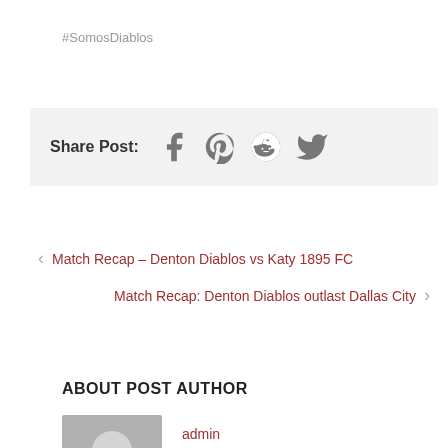#SomosDiablos
[Figure (infographic): Share Post section with social media icons: Facebook, Pinterest, Reddit, Twitter]
< Match Recap – Denton Diablos vs Katy 1895 FC
Match Recap: Denton Diablos outlast Dallas City >
ABOUT POST AUTHOR
[Figure (photo): Default author avatar showing silhouette of a person, gray background]
admin